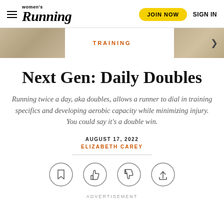Women's Running — JOIN NOW | SIGN IN
[Figure (photo): Image strip with training label and navigation arrow, showing partial running/track photos on the left and right edges]
Next Gen: Daily Doubles
Running twice a day, aka doubles, allows a runner to dial in training specifics and developing aerobic capacity while minimizing injury. You could say it's a double win.
AUGUST 17, 2022
ELIZABETH CAREY
[Figure (infographic): Row of four circular icon buttons: bookmark, thumbs up, thumbs down, share]
ADVERTISEMENT